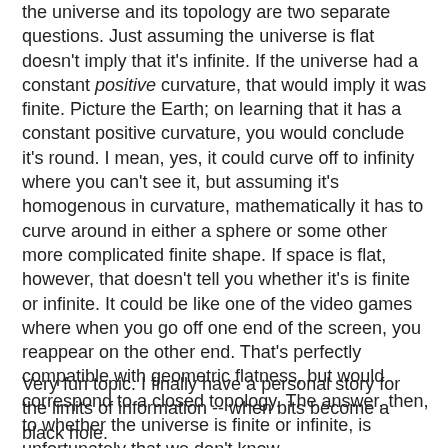the universe and its topology are two separate questions. Just assuming the universe is flat doesn't imply that it's infinite. If the universe had a constant positive curvature, that would imply it was finite. Picture the Earth; on learning that it has a constant positive curvature, you would conclude it's round. I mean, yes, it could curve off to infinity where you can't see it, but assuming it's homogenous in curvature, mathematically it has to curve around in either a sphere or some other more complicated finite shape. If space is flat, however, that doesn't tell you whether it's is finite or infinite. It could be like one of the video games where when you go off one end of the screen, you reappear on the other end. That's perfectly compatible with geometric flatness, but would correspond to a closed topology. The answer, then, to whether the universe is finite or infinite, is unfortunately that we don't know....
Very fun topic. I finally have a personal story for the limits of information -- when bits become a black hole.